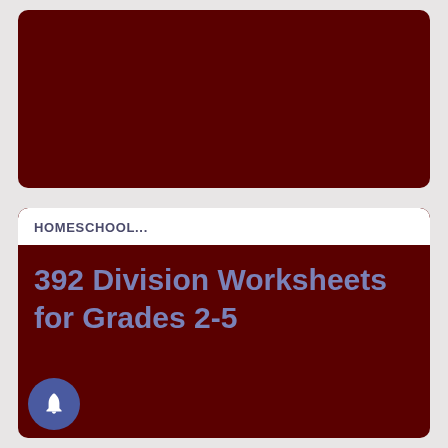[Figure (illustration): Dark maroon/burgundy rounded card at the top of the page, appears to be a partially visible image card with no visible text content.]
HOMESCHOOL...
392 Division Worksheets for Grades 2-5
[Figure (illustration): Bell notification icon button — a circular blue-purple button with a white bell icon, positioned at the bottom left of the lower card.]